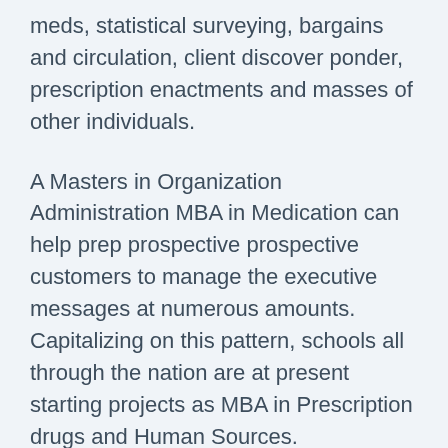meds, statistical surveying, bargains and circulation, client discover ponder, prescription enactments and masses of other individuals.
A Masters in Organization Administration MBA in Medication can help prep prospective prospective customers to manage the executive messages at numerous amounts. Capitalizing on this pattern, schools all through the nation are at present starting projects as MBA in Prescription drugs and Human Sources. Understudies are so intrigued with all the system that they are likely in addition to it in vast quantities in establishments where it's being operate. The